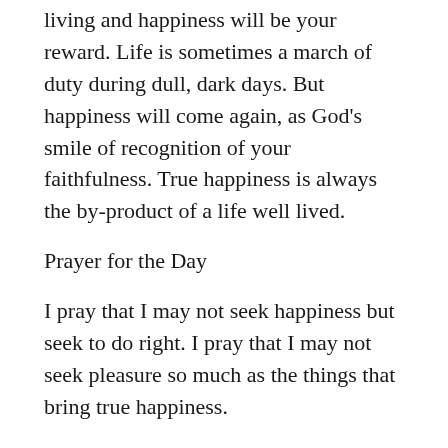living and happiness will be your reward. Life is sometimes a march of duty during dull, dark days. But happiness will come again, as God's smile of recognition of your faithfulness. True happiness is always the by-product of a life well lived.
Prayer for the Day
I pray that I may not seek happiness but seek to do right. I pray that I may not seek pleasure so much as the things that bring true happiness.
[Figure (other): Double horizontal rule divider]
The Language of Letting Go – Codependency